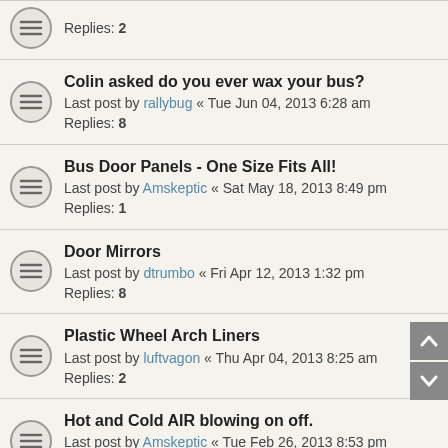Replies: 2
Colin asked do you ever wax your bus?
Last post by rallybug « Tue Jun 04, 2013 6:28 am
Replies: 8
Bus Door Panels - One Size Fits All!
Last post by Amskeptic « Sat May 18, 2013 8:49 pm
Replies: 1
Door Mirrors
Last post by dtrumbo « Fri Apr 12, 2013 1:32 pm
Replies: 8
Plastic Wheel Arch Liners
Last post by luftvagon « Thu Apr 04, 2013 8:25 am
Replies: 2
Hot and Cold AIR blowing on off.
Last post by Amskeptic « Tue Feb 26, 2013 8:53 pm
Replies: 5
Need help with defrost cable - 78 Westy
Last post by satchmo « Fri Jan 18, 2013 10:46 am
Replies: 6